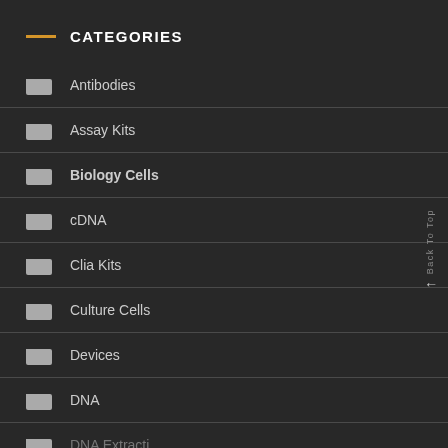CATEGORIES
Antibodies
Assay Kits
Biology Cells
cDNA
Clia Kits
Culture Cells
Devices
DNA
DNA Extraction